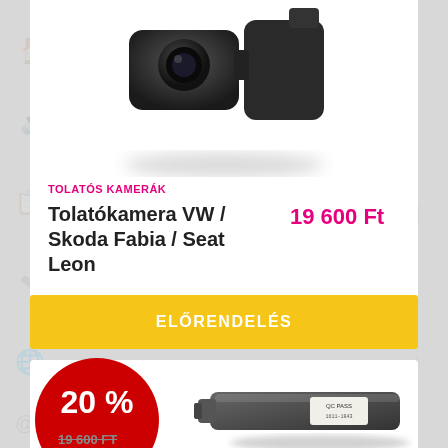[Figure (photo): Dashcam / backup camera device photographed from above on white background]
TOLATÓS KAMERÁK
Tolatókamera VW / Skoda Fabia / Seat Leon
19 600 Ft
ELŐRENDELÉS
[Figure (infographic): Red dripping paint circle badge showing 20% discount]
19 600 FT
[Figure (photo): Black automotive camera/connector device with QC PASS sticker]